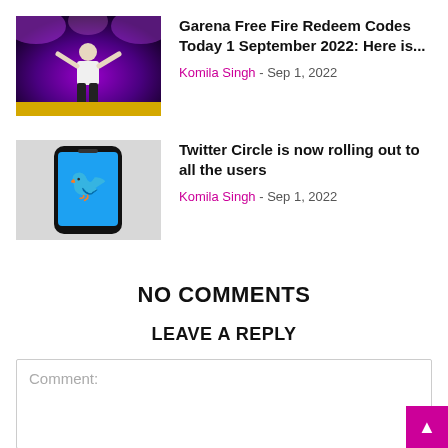[Figure (photo): Screenshot from Garena Free Fire game showing a character with arms raised under purple stage lighting]
Garena Free Fire Redeem Codes Today 1 September 2022: Here is...
Komila Singh - Sep 1, 2022
[Figure (photo): Photo of a smartphone displaying the Twitter app with the Twitter bird logo on a blue screen, set against a light gray background]
Twitter Circle is now rolling out to all the users
Komila Singh - Sep 1, 2022
NO COMMENTS
LEAVE A REPLY
Comment: